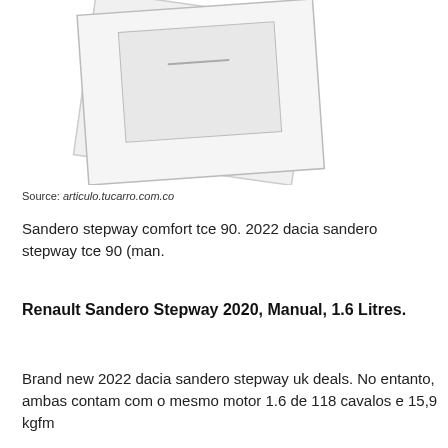[Figure (illustration): Placeholder illustration showing two overlapping document/image cards with a grey rectangle and a smaller inner rectangle with a horizontal line, rotated slightly, on a white background.]
Source: articulo.tucarro.com.co
Sandero stepway comfort tce 90. 2022 dacia sandero stepway tce 90 (man.
Renault Sandero Stepway 2020, Manual, 1.6 Litres.
Brand new 2022 dacia sandero stepway uk deals. No entanto, ambas contam com o mesmo motor 1.6 de 118 cavalos e 15,9 kgfm